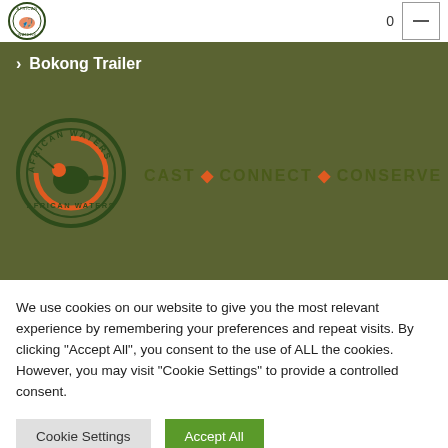African Waters logo | 0 | menu button
> Bokong Trailer
[Figure (logo): African Waters circular logo with fisherman silhouette and text 'AFRICAN WATERS' around the border, in dark green and orange]
CAST · CONNECT · CONSERVE
We use cookies on our website to give you the most relevant experience by remembering your preferences and repeat visits. By clicking "Accept All", you consent to the use of ALL the cookies. However, you may visit "Cookie Settings" to provide a controlled consent.
Cookie Settings | Accept All